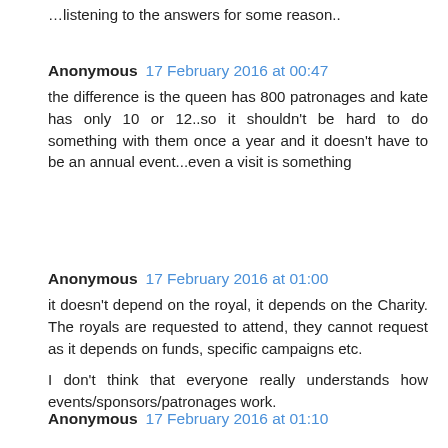…listening to the answers for some reason..
Anonymous 17 February 2016 at 00:47
the difference is the queen has 800 patronages and kate has only 10 or 12..so it shouldn't be hard to do something with them once a year and it doesn't have to be an annual event...even a visit is something
Anonymous 17 February 2016 at 01:00
it doesn't depend on the royal, it depends on the Charity. The royals are requested to attend, they cannot request as it depends on funds, specific campaigns etc.

I don't think that everyone really understands how events/sponsors/patronages work.
Anonymous 17 February 2016 at 01:10